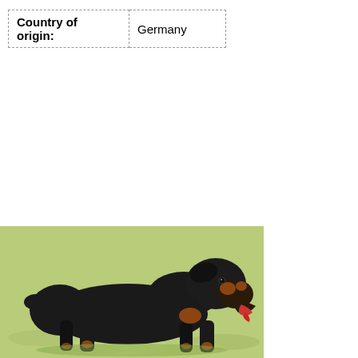| Country of origin: | Germany |
| --- | --- |
[Figure (photo): A black and tan Rottweiler dog standing on green grass, viewed from the side, with mouth open and tongue out.]